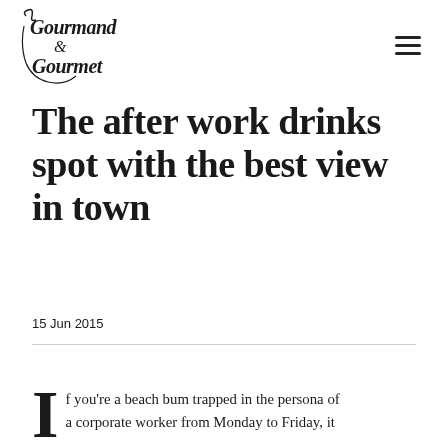Gourmand & Gourmet [logo] [menu button]
The after work drinks spot with the best view in town
15 Jun 2015
If you're a beach bum trapped in the persona of a corporate worker from Monday to Friday, it